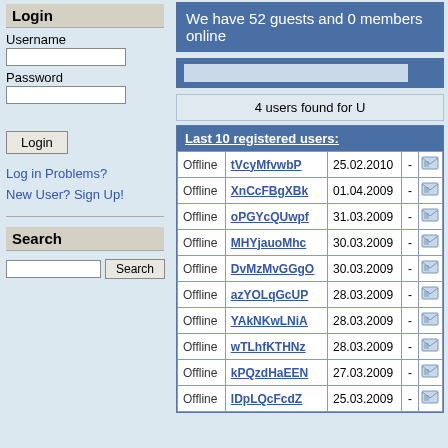Login
Username
Password
Login (button)
Log in Problems?
New User? Sign Up!
Search
We have 52 guests and 0 members online
4 users found for U
|  | Username | Date |  |  |
| --- | --- | --- | --- | --- |
| Offline | tVcyMfvwbP | 25.02.2010 | - |  |
| Offline | XnCcFBgXBk | 01.04.2009 | - |  |
| Offline | oPGYcQUwpf | 31.03.2009 | - |  |
| Offline | MHYjauoMhc | 30.03.2009 | - |  |
| Offline | DvMzMvGGgO | 30.03.2009 | - |  |
| Offline | azYOLqGcUP | 28.03.2009 | - |  |
| Offline | YAkNKwLNiA | 28.03.2009 | - |  |
| Offline | wTLhfKTHNz | 28.03.2009 | - |  |
| Offline | kPQzdHaEEN | 27.03.2009 | - |  |
| Offline | IDpLQcFcdZ | 25.03.2009 | - |  |